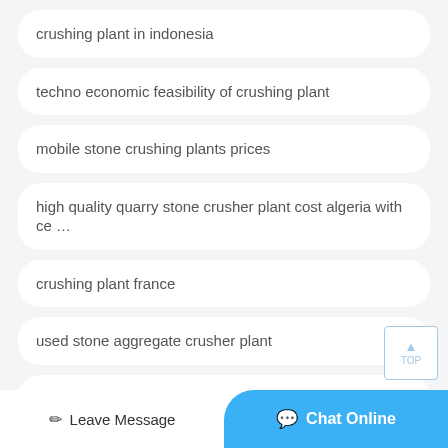crushing plant in indonesia
techno economic feasibility of crushing plant
mobile stone crushing plants prices
high quality quarry stone crusher plant cost algeria with ce …
crushing plant france
used stone aggregate crusher plant
mineral crushing plant in germany
Leave Message   Chat Online